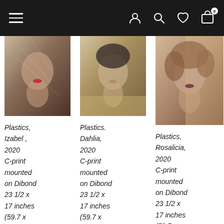Navigation bar with hamburger menu, user icon, search icon, heart/wishlist icon, and bag icon with badge 0
[Figure (photo): Close-up portrait of a woman with red lips and a translucent veil over her face, looking directly at camera]
[Figure (photo): Close-up portrait of a woman with dark hair and neutral lip color, looking directly at camera]
[Figure (photo): Close-up portrait of a woman with curly hair and dark lips, looking directly at camera with dramatic sunlight]
Plastics, Izabel , 2020 C-print mounted on Dibond 23 1/2 x 17 inches (59.7 x 43.2 cm)
Plastics. Dahlia, 2020 C-print mounted on Dibond 23 1/2 x 17 inches (59.7 x 43.2 cm)
Plastics, Rosalicia, 2020 C-print mounted on Dibond 23 1/2 x 17 inches (59.7 x